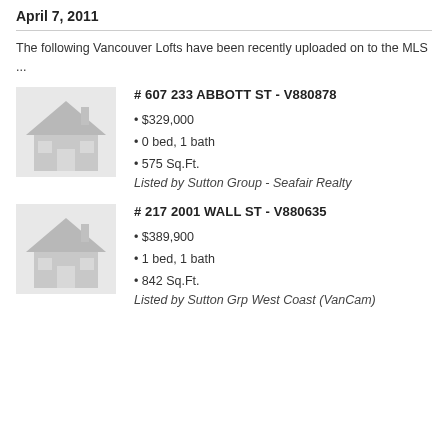April 7, 2011
The following Vancouver Lofts have been recently uploaded on to the MLS ...
# 607 233 ABBOTT ST - V880878
[Figure (illustration): Gray placeholder house silhouette image]
• $329,000
• 0 bed, 1 bath
• 575 Sq.Ft.
Listed by Sutton Group - Seafair Realty
# 217 2001 WALL ST - V880635
[Figure (illustration): Gray placeholder house silhouette image]
• $389,900
• 1 bed, 1 bath
• 842 Sq.Ft.
Listed by Sutton Grp West Coast (VanCam)